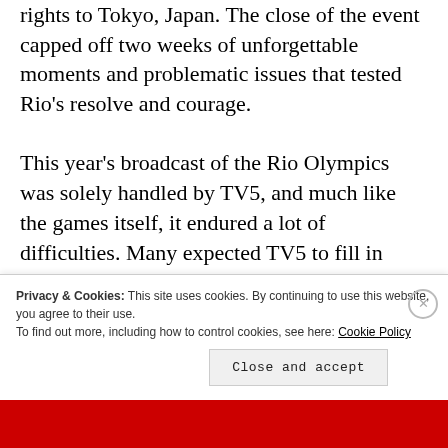rights to Tokyo, Japan. The close of the event capped off two weeks of unforgettable moments and problematic issues that tested Rio's resolve and courage.
This year's broadcast of the Rio Olympics was solely handled by TV5, and much like the games itself, it endured a lot of difficulties. Many expected TV5 to fill in most of their hours with Olympic coverage, yet they failed to do so
Privacy & Cookies: This site uses cookies. By continuing to use this website, you agree to their use.
To find out more, including how to control cookies, see here: Cookie Policy